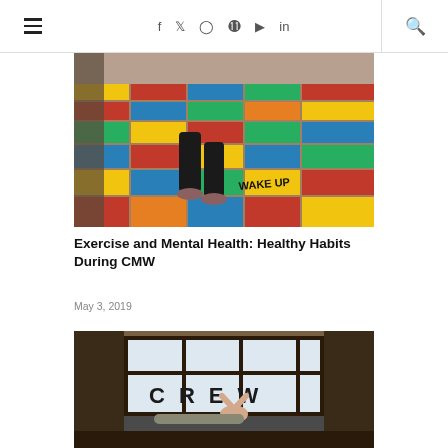≡  f  t  ○  ⊕  ▶  in  🔍
[Figure (photo): Person climbing colorful brick stairs painted in red, blue, yellow, and green. Text 'WAKE UP' visible on stairs.]
Exercise and Mental Health: Healthy Habits During CMW
May 3, 2019
[Figure (photo): Person lying on a couch in a dimly lit room with large industrial windows. Letters 'CREW' visible in background.]